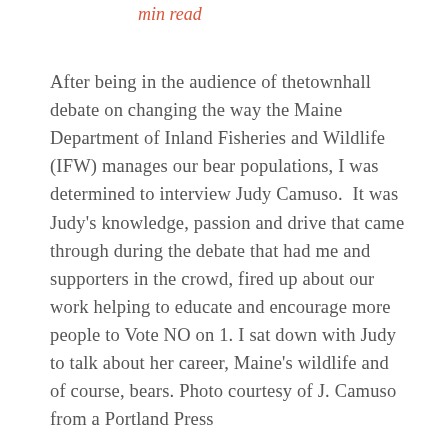min read
After being in the audience of thetownhall debate on changing the way the Maine Department of Inland Fisheries and Wildlife (IFW) manages our bear populations, I was determined to interview Judy Camuso.  It was Judy's knowledge, passion and drive that came through during the debate that had me and supporters in the crowd, fired up about our work helping to educate and encourage more people to Vote NO on 1. I sat down with Judy to talk about her career, Maine's wildlife and of course, bears. Photo courtesy of J. Camuso from a Portland Press